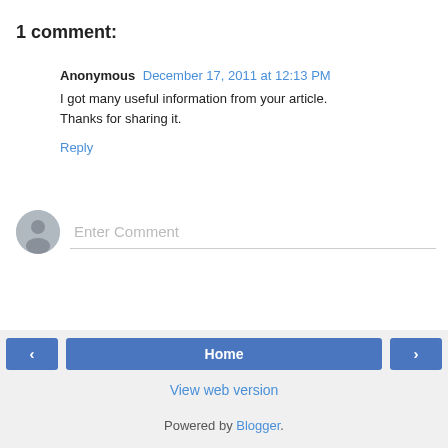1 comment:
Anonymous  December 17, 2011 at 12:13 PM
I got many useful information from your article. Thanks for sharing it.
Reply
[Figure (other): Comment input area with user avatar placeholder and 'Enter Comment' text field]
< Home > View web version Powered by Blogger.